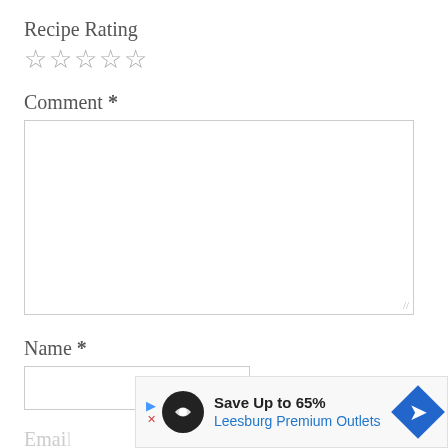Recipe Rating
[Figure (other): Five empty star icons for recipe rating]
Comment *
[Figure (other): Large empty comment text area input box]
Name *
[Figure (other): Empty name text input box]
Email
[Figure (other): Advertisement banner: Save Up to 65% Leesburg Premium Outlets]